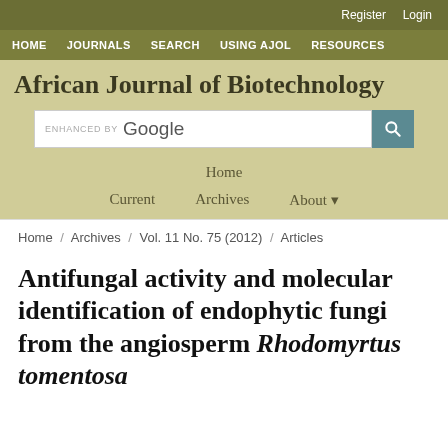Register   Login
HOME   JOURNALS   SEARCH   USING AJOL   RESOURCES
African Journal of Biotechnology
[Figure (screenshot): Google enhanced search bar with search button]
Home
Current   Archives   About
Home / Archives / Vol. 11 No. 75 (2012) / Articles
Antifungal activity and molecular identification of endophytic fungi from the angiosperm Rhodomyrtus tomentosa